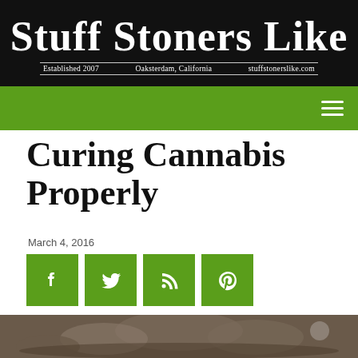Stuff Stoners Like | Established 2007 | Oaksterdam, California | stuffstonerslike.com
Curing Cannabis Properly
March 4, 2016
[Figure (screenshot): Social sharing buttons: Facebook, Twitter, RSS feed, Pinterest — all green square icons with white symbols]
[Figure (photo): Close-up photo of cannabis buds in a glass jar, partially visible at bottom of page]